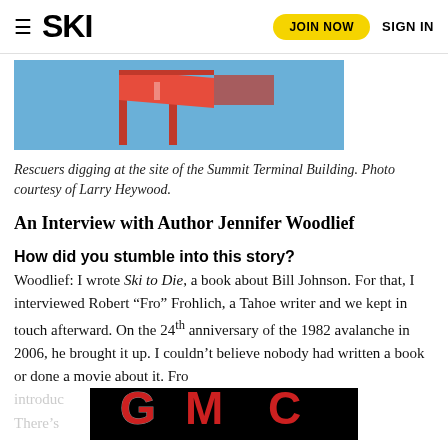SKI | JOIN NOW | SIGN IN
[Figure (photo): Red flag/gate on a blue sky background at the Summit Terminal Building site]
Rescuers digging at the site of the Summit Terminal Building. Photo courtesy of Larry Heywood.
An Interview with Author Jennifer Woodlief
How did you stumble into this story?
Woodlief: I wrote Ski to Die, a book about Bill Johnson. For that, I interviewed Robert “Fro” Frohlich, a Tahoe writer and we kept in touch afterward. On the 24th anniversary of the 1982 avalanche in 2006, he brought it up. I couldn’t believe nobody had written a book or done a movie about it. Fro introduced [text cut off by ad] bility. There’s [text cut off by ad] nted to
[Figure (logo): GMC advertisement banner with red GMC logo on black background]